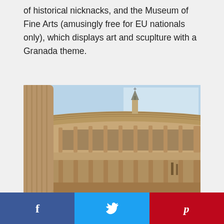of historical nicknacks, and the Museum of Fine Arts (amusingly free for EU nationals only), which displays art and sculpture with a Granada theme.
[Figure (photo): Interior courtyard of the Palace of Charles V in the Alhambra, Granada. Circular colonnaded courtyard with stone columns on two levels, with a church spire visible in the background against a blue sky.]
[Figure (infographic): Social share buttons bar at bottom: Facebook (dark blue), Twitter (light blue), Pinterest (red)]